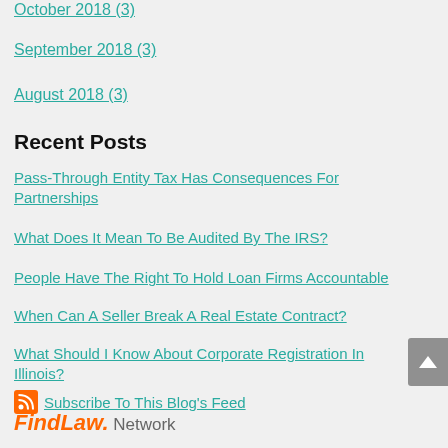October 2018 (3)
September 2018 (3)
August 2018 (3)
Recent Posts
Pass-Through Entity Tax Has Consequences For Partnerships
What Does It Mean To Be Audited By The IRS?
People Have The Right To Hold Loan Firms Accountable
When Can A Seller Break A Real Estate Contract?
What Should I Know About Corporate Registration In Illinois?
Subscribe To This Blog's Feed
FindLaw. Network